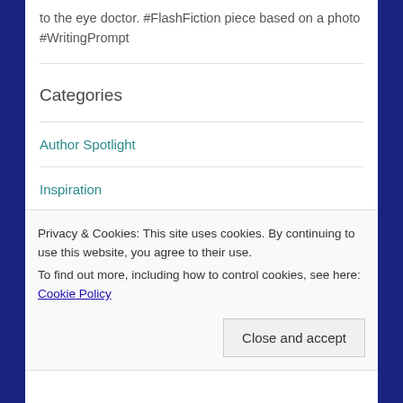to the eye doctor. #FlashFiction piece based on a photo #WritingPrompt
Categories
Author Spotlight
Inspiration
Memoirs
Privacy & Cookies: This site uses cookies. By continuing to use this website, you agree to their use. To find out more, including how to control cookies, see here: Cookie Policy
Close and accept